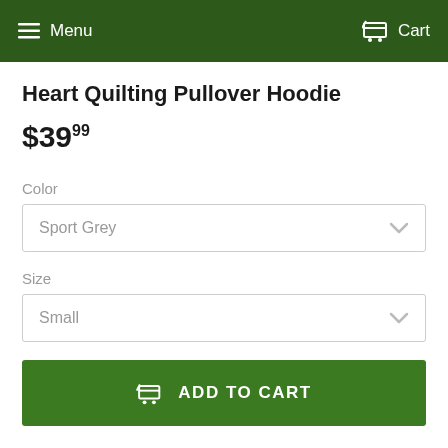Menu  Cart
Heart Quilting Pullover Hoodie
$39.99
Color
Sport Grey
Size
Small
ADD TO CART